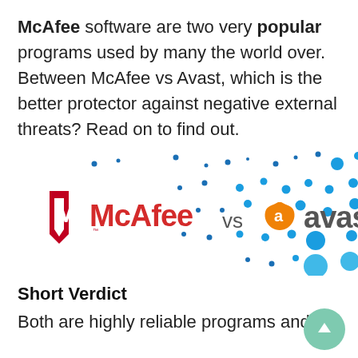McAfee software are two very popular programs used by many the world over. Between McAfee vs Avast, which is the better protector against negative external threats? Read on to find out.
[Figure (logo): McAfee vs Avast logo image with decorative blue dots pattern in the background]
Short Verdict
Both are highly reliable programs and are